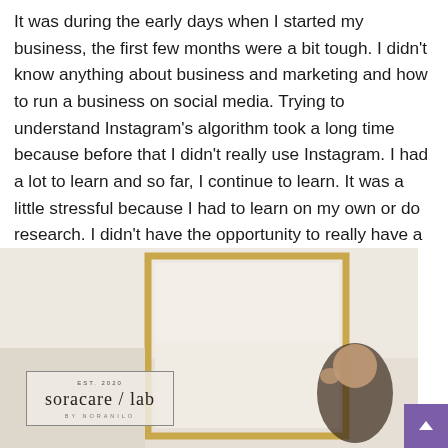It was during the early days when I started my business, the first few months were a bit tough. I didn't know anything about business and marketing and how to run a business on social media. Trying to understand Instagram's algorithm took a long time because before that I didn't really use Instagram. I had a lot to learn and so far, I continue to learn. It was a little stressful because I had to learn on my own or do research. I didn't have the opportunity to really have a person to guide at the beginning stage.
[Figure (photo): Photo of a woman near a gold-framed mirror, with the soracare / lab brand logo box in the lower left of the image. EST. 2020 text above the logo. BY NORANILO text below the logo.]